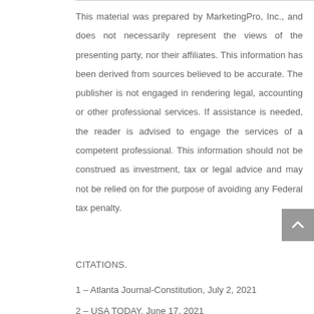This material was prepared by MarketingPro, Inc., and does not necessarily represent the views of the presenting party, nor their affiliates. This information has been derived from sources believed to be accurate. The publisher is not engaged in rendering legal, accounting or other professional services. If assistance is needed, the reader is advised to engage the services of a competent professional. This information should not be construed as investment, tax or legal advice and may not be relied on for the purpose of avoiding any Federal tax penalty.
CITATIONS.
1 – Atlanta Journal-Constitution, July 2, 2021
2 – USA TODAY, June 17, 2021